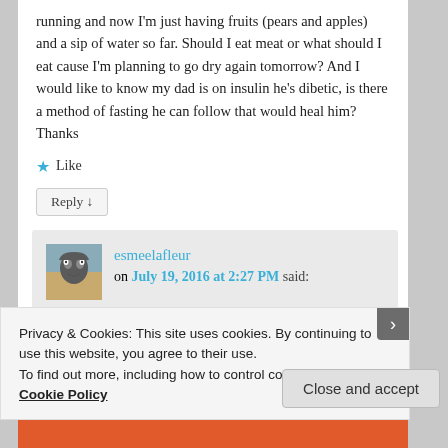running and now I'm just having fruits (pears and apples) and a sip of water so far. Should I eat meat or what should I eat cause I'm planning to go dry again tomorrow? And I would like to know my dad is on insulin he's dibetic, is there a method of fasting he can follow that would heal him? Thanks
★ Like
Reply ↓
esmeelafleur on July 19, 2016 at 2:27 PM said:
Privacy & Cookies: This site uses cookies. By continuing to use this website, you agree to their use.
To find out more, including how to control cookies, see here: Cookie Policy
Close and accept